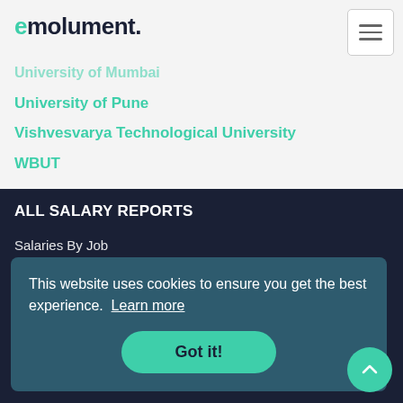emolument.
University of Mumbai (partially visible)
University of Pune
Vishvesvarya Technological University
WBUT
ALL SALARY REPORTS
Salaries By Job
Salaries By Company
RESOURCES
Salary Calculator
This website uses cookies to ensure you get the best experience. Learn more
Got it!